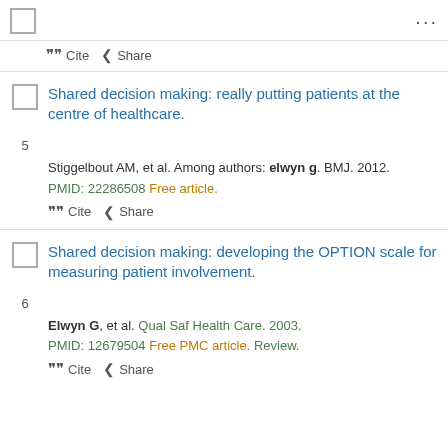[Figure (other): Checkbox and ellipsis menu top bar]
Cite  Share
5  Shared decision making: really putting patients at the centre of healthcare.
Stiggelbout AM, et al. Among authors: elwyn g. BMJ. 2012.
PMID: 22286508  Free article.
Cite  Share
6  Shared decision making: developing the OPTION scale for measuring patient involvement.
Elwyn G, et al. Qual Saf Health Care. 2003.
PMID: 12679504  Free PMC article.  Review.
Cite  Share